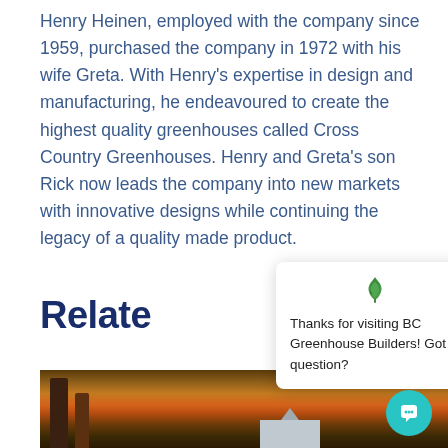Henry Heinen, employed with the company since 1959, purchased the company in 1972 with his wife Greta. With Henry's expertise in design and manufacturing, he endeavoured to create the highest quality greenhouses called Cross Country Greenhouses. Henry and Greta's son Rick now leads the company into new markets with innovative designs while continuing the legacy of a quality made product.
Relate
[Figure (screenshot): Chat popup overlay with BC Greenhouse Builders logo (green leaf icon), close button (×), and text: 'Thanks for visiting BC Greenhouse Builders! Got a question?' with a teal chat button in the bottom right corner.]
[Figure (photo): Autumn forest scene with red, orange, and brown foliage trees, with a small greenhouse structure visible in the lower portion.]